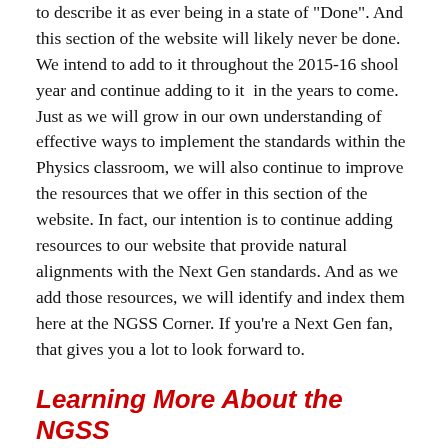to describe it as ever being in a state of "Done". And this section of the website will likely never be done. We intend to add to it throughout the 2015-16 shool year and continue adding to it  in the years to come. Just as we will grow in our own understanding of effective ways to implement the standards within the Physics classroom, we will also continue to improve the resources that we offer in this section of the website. In fact, our intention is to continue adding resources to our website that provide natural alignments with the Next Gen standards. And as we add those resources, we will identify and index them here at the NGSS Corner. If you're a Next Gen fan, that gives you a lot to look forward to.
Learning More About the NGSS
Theres are a variety of resources available for learning more about the NGSS. Perhaps the best resource is the official Next Generation Science Standards website (http://www.nextgenscience.org). The website provides a wealth of information about the standards, the underlying